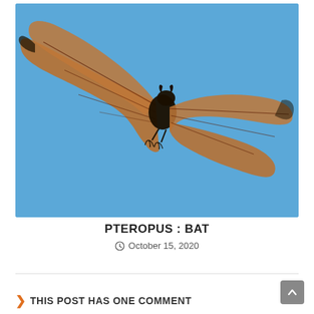[Figure (photo): A flying fox bat (Pteropus) photographed against a bright blue sky, wings fully spread, showing translucent orange-brown wing membranes with dark veins and a small dark body with visible feet/claws.]
PTEROPUS : BAT
October 15, 2020
THIS POST HAS ONE COMMENT